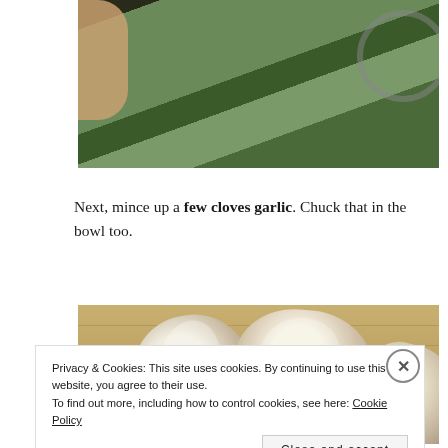[Figure (photo): Top portion of a photo showing a diced avocado being scooped into a bowl, with a hand visible on the left and a metal bowl rim on the right.]
Next, mince up a few cloves garlic. Chuck that in the bowl too.
[Figure (photo): Photo of garlic cloves/bulbs on a wooden cutting board.]
Privacy & Cookies: This site uses cookies. By continuing to use this website, you agree to their use.
To find out more, including how to control cookies, see here: Cookie Policy
Close and accept